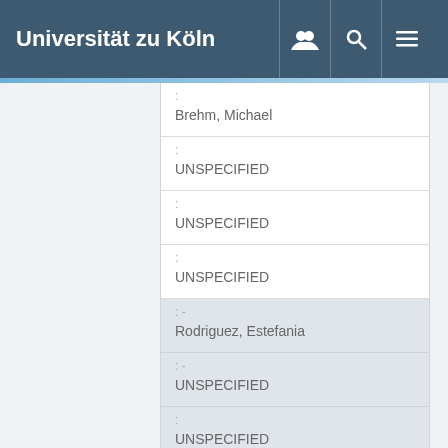Universität zu Köln
| Label | Value |
| --- | --- |
| : | Brehm, Michael |
| : | UNSPECIFIED |
| : | UNSPECIFIED |
| : | UNSPECIFIED |
| :- | Rodriguez, Estefania |
| :- | UNSPECIFIED |
| : | UNSPECIFIED |
| : |  |